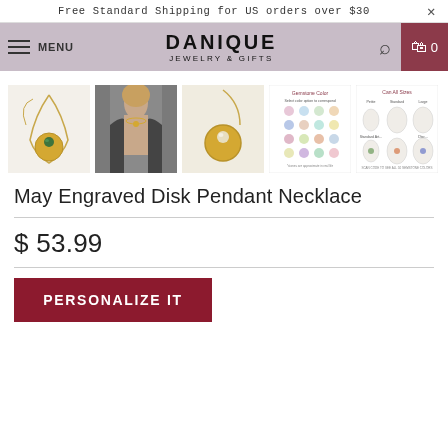Free Standard Shipping for US orders over $30  ×
MENU  DANIQUE JEWELRY & GIFTS  [search] [cart] 0
[Figure (photo): Five thumbnail images of a May Engraved Disk Pendant Necklace product listing: gold disk pendant necklace with green stone on chain, model wearing necklace, close-up of gold disk with stone, birthstone chart reference image, face shape chart reference image]
May Engraved Disk Pendant Necklace
$ 53.99
PERSONALIZE IT